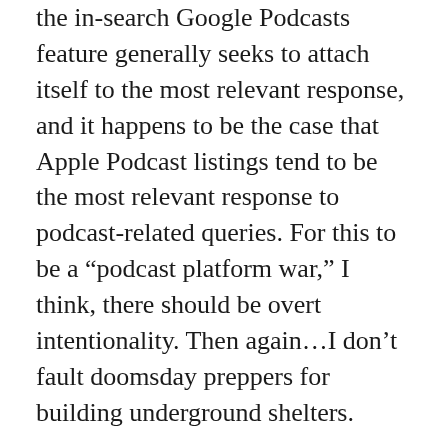the in-search Google Podcasts feature generally seeks to attach itself to the most relevant response, and it happens to be the case that Apple Podcast listings tend to be the most relevant response to podcast-related queries. For this to be a “podcast platform war,” I think, there should be overt intentionality. Then again…I don’t fault doomsday preppers for building underground shelters.
Anyway, the introduction of this feature also yields other potential complexities, mostly associated with the everyday doldrums of SEO management. In particular, this is probably going to change how people think about naming their shows, as they now operate within a universe that contains a powerful search engine